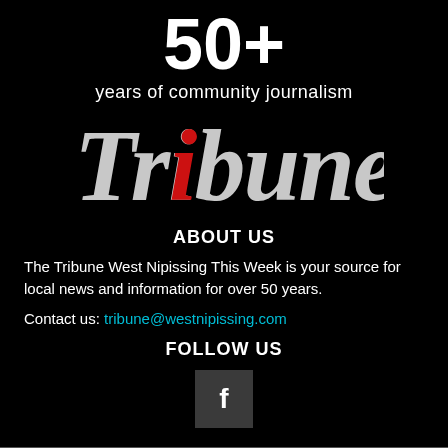50+
years of community journalism
[Figure (logo): Tribune newspaper logo with stylized italic 'i' in red and white serif lettering on black background]
ABOUT US
The Tribune West Nipissing This Week is your source for local news and information for over 50 years.
Contact us: tribune@westnipissing.com
FOLLOW US
[Figure (other): Facebook icon button - dark square with white 'f' letter]